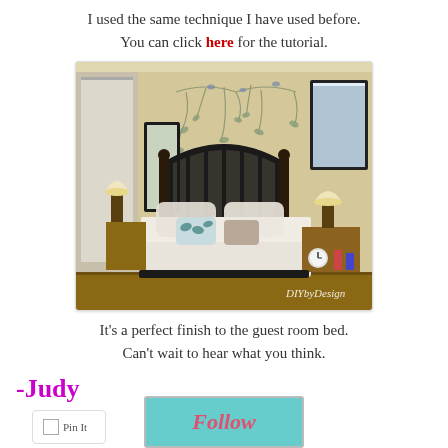I used the same technique I have used before. You can click here for the tutorial.
[Figure (photo): Bedroom with decorative iron headboard, white bedding with teal leaf pillows, floral wall painting above bed, two table lamps, nightstands, and a watermark reading DIYbyDesign]
It's a perfect finish to the guest room bed. Can't wait to hear what you think.
-Judy
[Figure (other): Pin It button]
[Figure (other): Follow button/badge in teal with pink italic text]